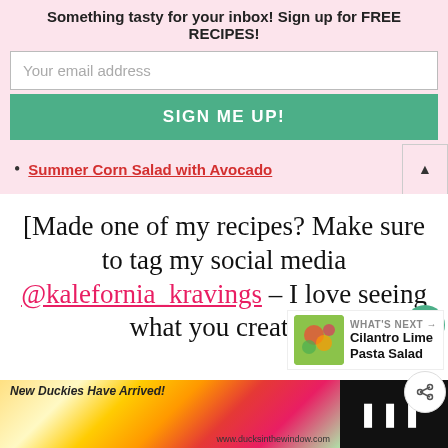Something tasty for your inbox! Sign up for FREE RECIPES!
Your email address
SIGN ME UP!
Summer Corn Salad with Avocado
[Made one of my recipes? Make sure to tag my social media @kalefornia_kravings – I love seeing what you create!]
[Figure (screenshot): Ad bar at the bottom: New Duckies Have Arrived! www.ducksinthewindow.com]
WHAT'S NEXT → Cilantro Lime Pasta Salad